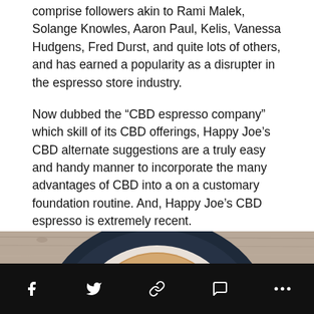comprise followers akin to Rami Malek, Solange Knowles, Aaron Paul, Kelis, Vanessa Hudgens, Fred Durst, and quite lots of others, and has earned a popularity as a disrupter in the espresso store industry.
Now dubbed the “CBD espresso company” which skill of its CBD offerings, Happy Joe’s CBD alternate suggestions are a truly easy and handy manner to incorporate the many advantages of CBD into a on a customary foundation routine. And, Happy Joe’s CBD espresso is extremely recent.
[Figure (photo): A top-down photo of a cappuccino or latte in a white cup on a dark navy blue plate, sitting on a wooden surface. The coffee has a foamy, speckled top.]
Social sharing bar with icons: Facebook, Twitter, Link, Comment, More (ellipsis)